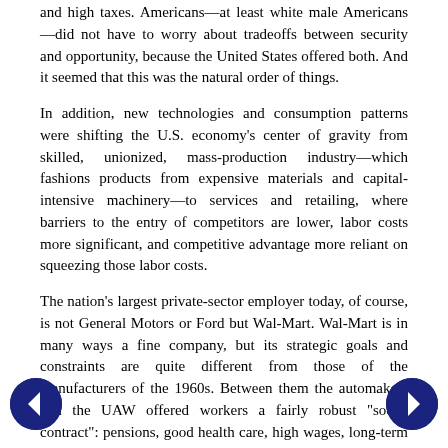and high taxes. Americans—at least white male Americans—did not have to worry about tradeoffs between security and opportunity, because the United States offered both. And it seemed that this was the natural order of things.
In addition, new technologies and consumption patterns were shifting the U.S. economy's center of gravity from skilled, unionized, mass-production industry—which fashions products from expensive materials and capital-intensive machinery—to services and retailing, where barriers to the entry of competitors are lower, labor costs more significant, and competitive advantage more reliant on squeezing those labor costs.
The nation's largest private-sector employer today, of course, is not General Motors or Ford but Wal-Mart. Wal-Mart is in many ways a fine company, but its strategic goals and constraints are quite different from those of the manufacturers of the 1960s. Between them the automakers and the UAW offered workers a fairly robust "social contract": pensions, good health care, high wages, long-term job security.
Wal-Mart makes no such offer.
By the early 1990s the nature of unemployment had changed as well. As Erica Groshen and Simon Potter, of the New York Federal Reserve, point out, temporary layoffs have become less common. Instead companies under constant competitive pressure are more frequently making layoffs permanent—using advances in technology to eliminate some types of jobs altogether.